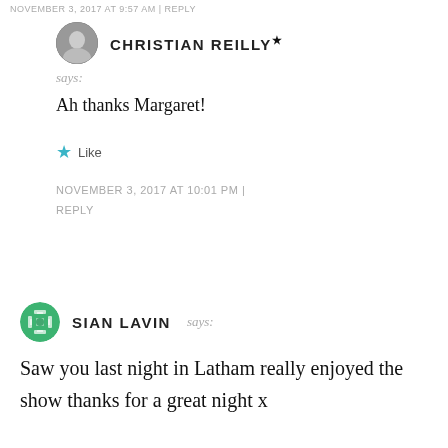NOVEMBER 3, 2017 AT 9:57 AM | REPLY
CHRISTIAN REILLY★ says: Ah thanks Margaret!
★ Like
NOVEMBER 3, 2017 AT 10:01 PM | REPLY
SIAN LAVIN says: Saw you last night in Latham really enjoyed the show thanks for a great night x